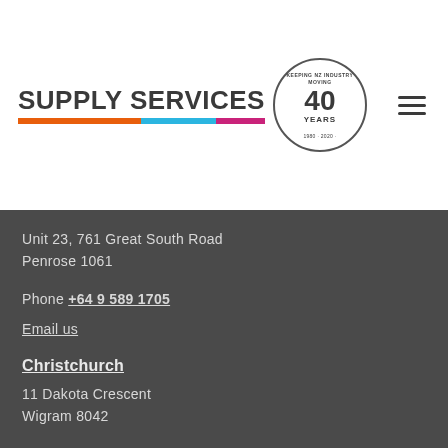[Figure (logo): Supply Services 40 Years logo with colored bars and circular badge]
Unit 23, 761 Great South Road
Penrose 1061
Phone +64 9 589 1705
Email us
Christchurch
11 Dakota Crescent
Wigram 8042